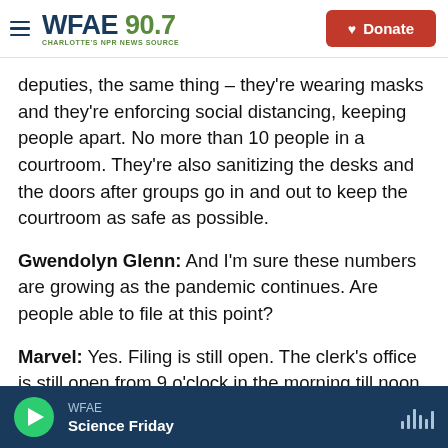WFAE 90.7 — CHARLOTTE'S NPR NEWS SOURCE | Donate
deputies, the same thing – they're wearing masks and they're enforcing social distancing, keeping people apart. No more than 10 people in a courtroom. They're also sanitizing the desks and the doors after groups go in and out to keep the courtroom as safe as possible.
Gwendolyn Glenn: And I'm sure these numbers are growing as the pandemic continues. Are people able to file at this point?
Marvel: Yes. Filing is still open. The clerk's office is still open from 9 o'clock in the morning till noon. Our
WFAE | Science Friday